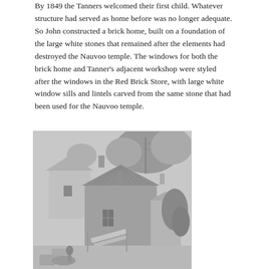By 1849 the Tanners welcomed their first child. Whatever structure had served as home before was no longer adequate. So John constructed a brick home, built on a foundation of the large white stones that remained after the elements had destroyed the Nauvoo temple. The windows for both the brick home and Tanner's adjacent workshop were styled after the windows in the Red Brick Store, with large white window sills and lintels carved from the same stone that had been used for the Nauvoo temple.
[Figure (photo): Black and white photograph of a brick building with a metal gabled roof, surrounded by trees and vegetation, with various structures visible in the background.]